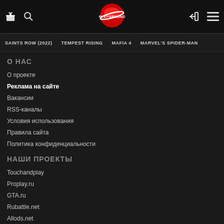Playground.ru — navigation header with logo, search, gift, login, and menu icons
SAINTS ROW (2022)   TEMPEST RISING   MAFIA 4   MARVEL'S SPIDER-MAN
О НАС
О проекте
Реклама на сайте
Вакансии
RSS-каналы
Условия использования
Правила сайта
Политика конфиденциальности
НАШИ ПРОЕКТЫ
Touchandplay
Proplay.ru
GTA.ru
Rubattle.net
Allods.net
[Figure (other): Small advertisement banner in bottom-right corner with arrow icon]